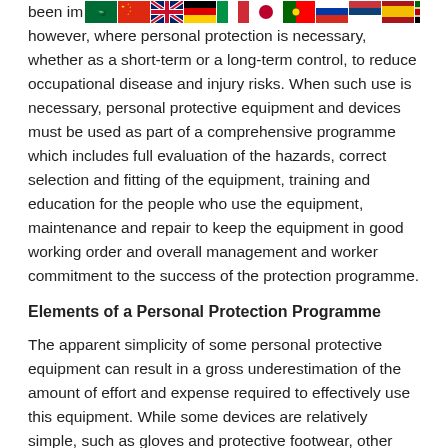been im... however, where personal protection is necessary, whether as a short-term or a long-term control, to reduce occupational disease and injury risks. When such use is necessary, personal protective equipment and devices must be used as part of a comprehensive programme which includes full evaluation of the hazards, correct selection and fitting of the equipment, training and education for the people who use the equipment, maintenance and repair to keep the equipment in good working order and overall management and worker commitment to the success of the protection programme.
Elements of a Personal Protection Programme
The apparent simplicity of some personal protective equipment can result in a gross underestimation of the amount of effort and expense required to effectively use this equipment. While some devices are relatively simple, such as gloves and protective footwear, other equipment such as respirators can actually be very complex. The factors which make effective